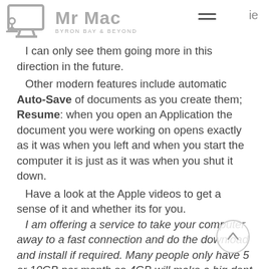Mr Mac Byron Bay & Beyond
I can only see them going more in this direction in the future.
Other modern features include automatic Auto-Save of documents as you create them; Resume: when you open an Application the document you were working on opens exactly as it was when you left and when you start the computer it is just as it was when you shut it down.
Have a look at the Apple videos to get a sense of it and whether its for you.
I am offering a service to take your computer away to a fast connection and do the download and install if required. Many people only have 5 or 10GB per month so 4GB will make a big dent in